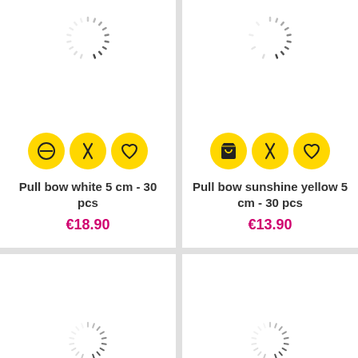[Figure (screenshot): Product card: Pull bow white 5 cm - 30 pcs with yellow action icons (no-entry, compare, wishlist) and price €18.90]
[Figure (screenshot): Product card: Pull bow sunshine yellow 5 cm - 30 pcs with yellow action icons (cart, compare, wishlist) and price €13.90]
[Figure (screenshot): Product card loading spinner bottom-left]
[Figure (screenshot): Product card loading spinner bottom-right]